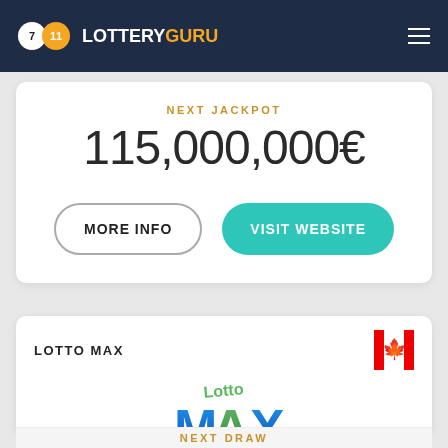7 11 LOTTERYGURU
NEXT JACKPOT
115,000,000€
MORE INFO
VISIT WEBSITE
LOTTO MAX
[Figure (logo): Lotto Max logo with blue/green stylized letters and Lotto text in green]
NEXT DRAW